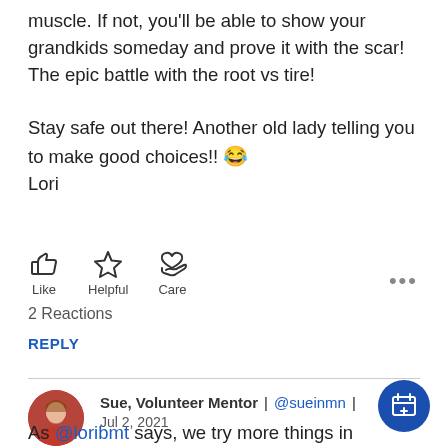muscle. If not, you'll be able to show your grandkids someday and prove it with the scar! The epic battle with the root vs tire!

Stay safe out there! Another old lady telling you to make good choices!! 😂 Lori
[Figure (infographic): Three reaction icons: thumbs up (Like), star (Helpful), heart with hand (Care), with ellipsis menu]
2 Reactions
REPLY
Sue, Volunteer Mentor | @sueinmn | Jul 2, 2021
As @loribmt says, we try more things in